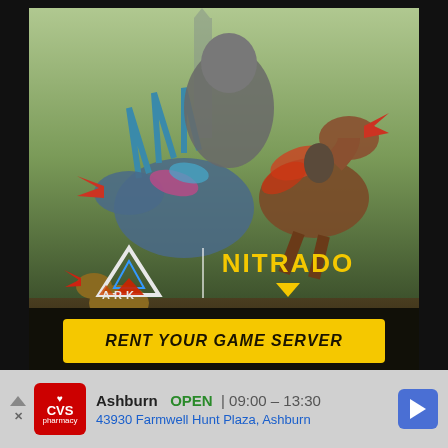[Figure (illustration): ARK: Survival Evolved game advertisement featuring dinosaurs including a spinosaurus and raptors in a fantasy landscape. The ARK game logo (triangle A shape with ARK text) is shown alongside the NITRADO logo with a yellow downward arrow. Below is a yellow call-to-action button reading 'RENT YOUR GAME SERVER'.]
[Figure (illustration): CVS Pharmacy advertisement banner. Shows CVS Pharmacy logo (red square with heart and 'CVS pharmacy' text), store info: Ashburn OPEN 09:00-13:30, address 43930 Farmwell Hunt Plaza, Ashburn. Blue navigation arrow icon on the right.]